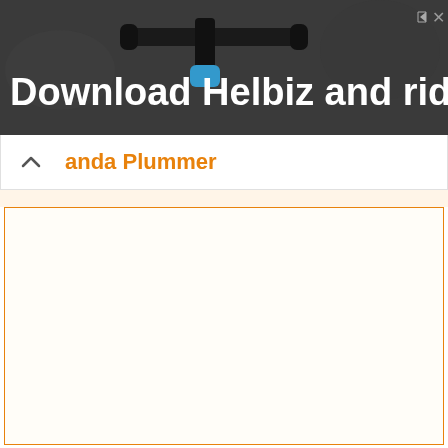[Figure (photo): Advertisement banner showing bicycle handlebars against a blurred background. White bold text reads 'Download Helbiz and ride'. Small ad indicator icons in top right corner.]
anda Plummer
[Figure (other): Empty white content area with orange border, likely a collapsed/loading comment or post section.]